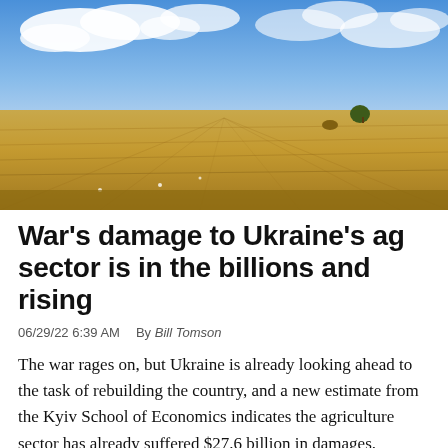[Figure (photo): Wide landscape photograph of a vast golden wheat field under a partly cloudy blue sky, with a lone tree visible on the horizon to the right.]
War's damage to Ukraine's ag sector is in the billions and rising
06/29/22 6:39 AM   By Bill Tomson
The war rages on, but Ukraine is already looking ahead to the task of rebuilding the country, and a new estimate from the Kyiv School of Economics indicates the agriculture sector has already suffered $27.6 billion in damages.